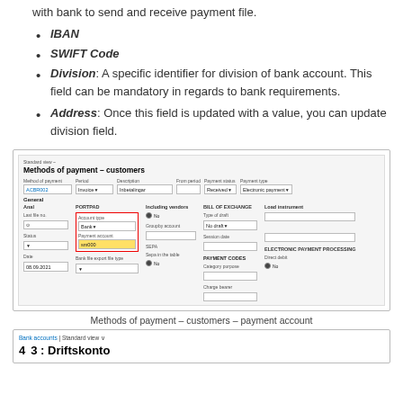with bank to send and receive payment file.
IBAN
SWIFT Code
Division: A specific identifier for division of bank account. This field can be mandatory in regards to bank requirements.
Address: Once this field is updated with a value, you can update division field.
[Figure (screenshot): Methods of payment - customers screen showing payment account fields with a red box highlighting Account type (Bank) and Payment account fields with a yellow highlighted input.]
Methods of payment – customers – payment account
[Figure (screenshot): Bank accounts Standard view header showing entry: 4   3 : Driftskonto]